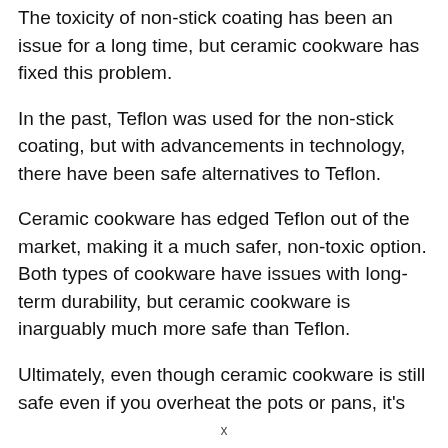The toxicity of non-stick coating has been an issue for a long time, but ceramic cookware has fixed this problem.
In the past, Teflon was used for the non-stick coating, but with advancements in technology, there have been safe alternatives to Teflon.
Ceramic cookware has edged Teflon out of the market, making it a much safer, non-toxic option. Both types of cookware have issues with long-term durability, but ceramic cookware is inarguably much more safe than Teflon.
Ultimately, even though ceramic cookware is still safe even if you overheat the pots or pans, it's
x